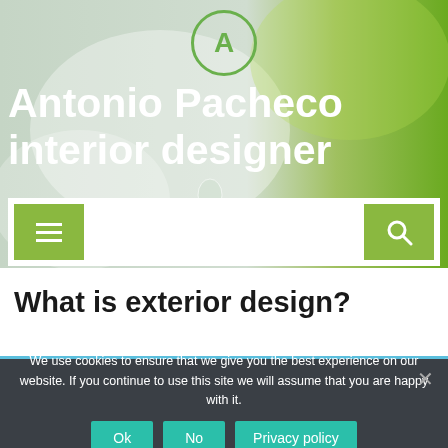[Figure (screenshot): Website hero section with greenish blurred background (water droplets and leaf), green circle logo with letter A, and bold white text reading 'Antonio Pacheco interior designer']
Antonio Pacheco interior designer
[Figure (screenshot): Navigation bar with white background, green hamburger menu button on left and green search button on right]
What is exterior design?
We use cookies to ensure that we give you the best experience on our website. If you continue to use this site we will assume that you are happy with it.